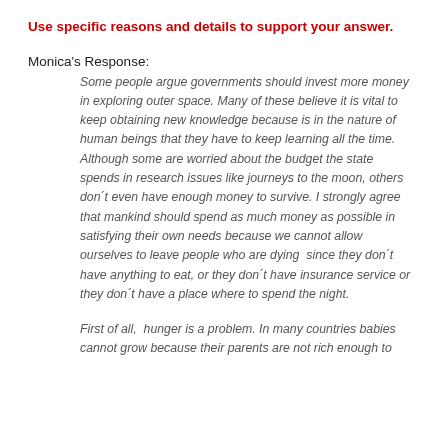Use specific reasons and details to support your answer.
Monica's Response:
Some people argue governments should invest more money in exploring outer space. Many of these believe it is vital to keep obtaining new knowledge because is in the nature of human beings that they have to keep learning all the time. Although some are worried about the budget the state spends in research issues like journeys to the moon, others don´t even have enough money to survive. I strongly agree that mankind should spend as much money as possible in satisfying their own needs because we cannot allow ourselves to leave people who are dying  since they don´t have anything to eat, or they don´t have insurance service or they don´t have a place where to spend the night.
First of all,  hunger is a problem. In many countries babies cannot grow because their parents are not rich enough to